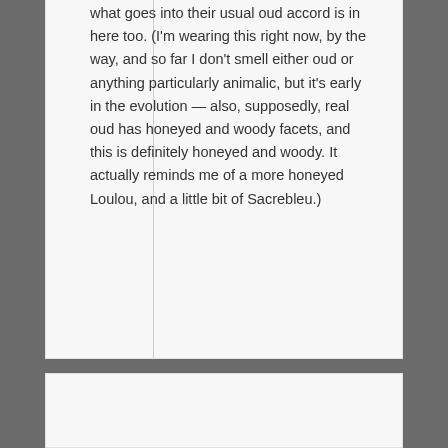what goes into their usual oud accord is in here too. (I'm wearing this right now, by the way, and so far I don't smell either oud or anything particularly animalic, but it's early in the evolution — also, supposedly, real oud has honeyed and woody facets, and this is definitely honeyed and woody. It actually reminds me of a more honeyed Loulou, and a little bit of Sacrebleu.)
[Figure (photo): User avatar photo: young woman with dark hair, smiling, hand near face, dark background]